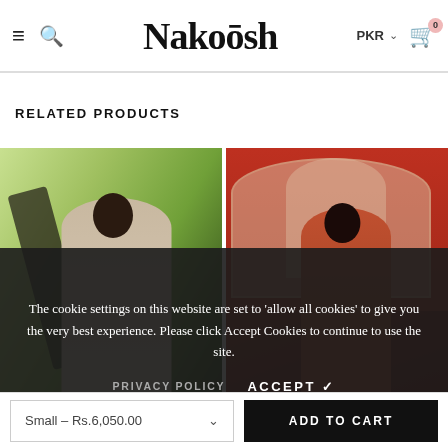Nakoosh — PKR 0
RELATED PRODUCTS
[Figure (photo): Fashion model in light floral outfit standing among green foliage and flowers]
[Figure (photo): Fashion model in rust/terracotta outfit standing in front of ornate white arched architecture with red wall background]
The cookie settings on this website are set to 'allow all cookies' to give you the very best experience. Please click Accept Cookies to continue to use the site.
PRIVACY POLICY    ACCEPT ✓
Small – Rs.6,050.00    ADD TO CART